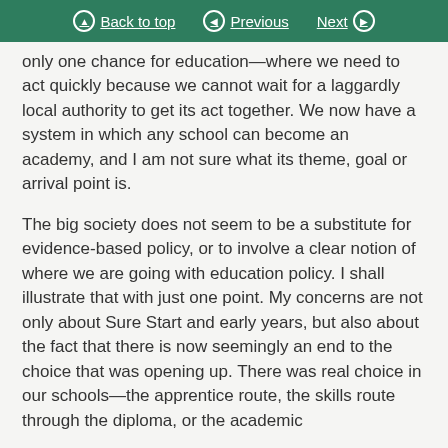Back to top | Previous | Next
only one chance for education—where we need to act quickly because we cannot wait for a laggardly local authority to get its act together. We now have a system in which any school can become an academy, and I am not sure what its theme, goal or arrival point is.
The big society does not seem to be a substitute for evidence-based policy, or to involve a clear notion of where we are going with education policy. I shall illustrate that with just one point. My concerns are not only about Sure Start and early years, but also about the fact that there is now seemingly an end to the choice that was opening up. There was real choice in our schools—the apprentice route, the skills route through the diploma, or the academic